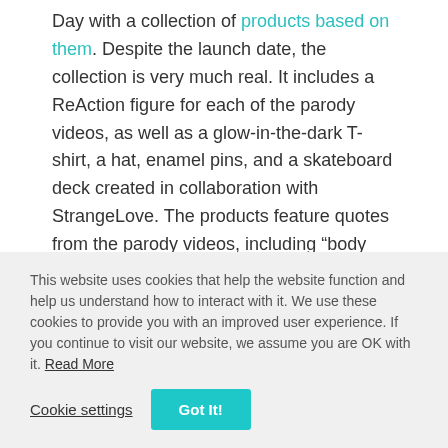Day with a collection of products based on them. Despite the launch date, the collection is very much real. It includes a ReAction figure for each of the parody videos, as well as a glow-in-the-dark T-shirt, a hat, enamel pins, and a skateboard deck created in collaboration with StrangeLove. The products feature quotes from the parody videos, including “body massage” and “I’m a computer!”
This website uses cookies that help the website function and help us understand how to interact with it. We use these cookies to provide you with an improved user experience. If you continue to visit our website, we assume you are OK with it. Read More
Cookie settings | Got It!